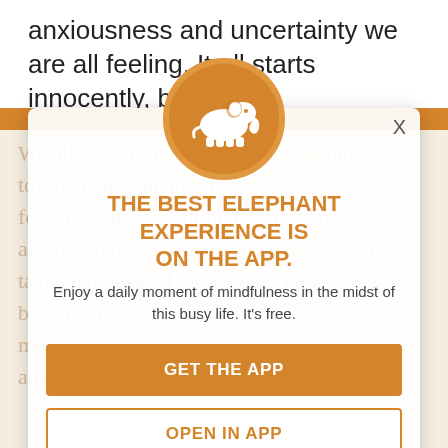anxiousness and uncertainty we are all feeling. It all starts innocently, but there's
hidden dangers to choosing alcohol to control your anxiety. In fact, it can actually make your anxiety worse in the long run.
We all start off consuming alcohol our...
[Figure (logo): Orange circle with white elephant silhouette icon]
X
THE BEST ELEPHANT EXPERIENCE IS ON THE APP.
Enjoy a daily moment of mindfulness in the midst of this busy life. It's free.
GET THE APP
OPEN IN APP